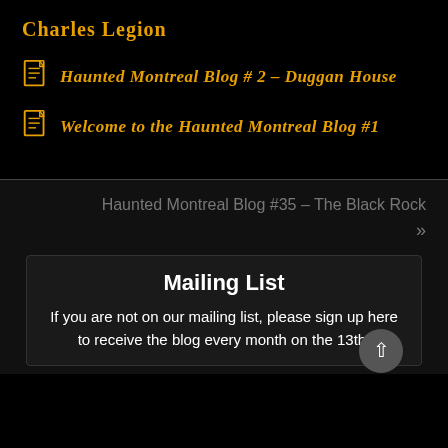Charles Legion
Haunted Montreal Blog # 2 – Duggan House
Welcome to the Haunted Montreal Blog #1
Haunted Montreal Blog #35 – The Black Rock »
Mailing List
If you are not on our mailing list, please sign up here to receive the blog every month on the 13th!